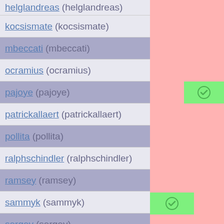helglandreas (helglandreas)
kocsismate (kocsismate)
mbeccati (mbeccati)
ocramius (ocramius)
pajoye (pajoye)
patrickallaert (patrickallaert)
pollita (pollita)
ralphschindler (ralphschindler)
ramsey (ramsey)
sammyk (sammyk)
sergey (sergey)
svpernova09 (svpernova09)
theodorejb (theodorejb)
trowski (trowski)